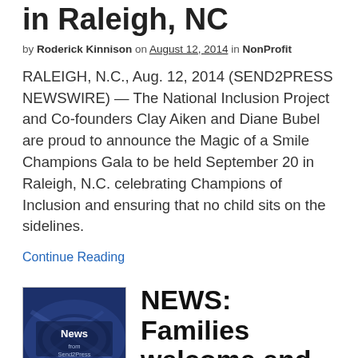in Raleigh, NC
by Roderick Kinnison on August 12, 2014 in NonProfit
RALEIGH, N.C., Aug. 12, 2014 (SEND2PRESS NEWSWIRE) — The National Inclusion Project and Co-founders Clay Aiken and Diane Bubel are proud to announce the Magic of a Smile Champions Gala to be held September 20 in Raleigh, N.C. celebrating Champions of Inclusion and ensuring that no child sits on the sidelines.
Continue Reading
[Figure (illustration): Thumbnail image showing a dark blue background with the text 'News from Send2Press Newswire']
NEWS: Families welcome end of winter weather